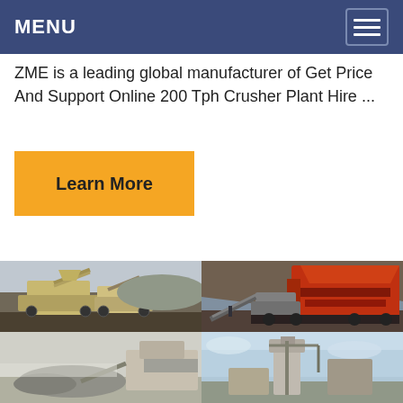MENU
ZME is a leading global manufacturer of Get Price And Support Online 200 Tph Crusher Plant Hire ...
Learn More
[Figure (photo): Mobile crushing plant with yellow/beige machinery in an outdoor quarry setting]
[Figure (photo): Red and orange crusher machine in an open pit quarry with rock face background]
[Figure (photo): Partially visible crushing equipment, white and gray tones]
[Figure (photo): Partially visible machinery with blue sky background]